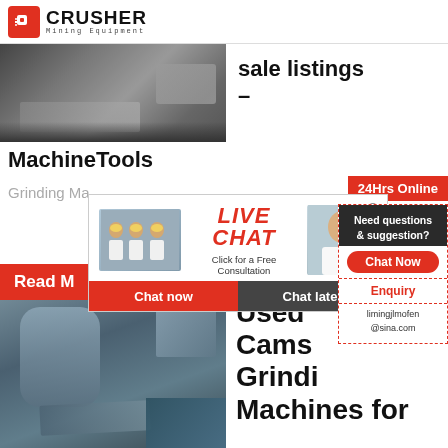CRUSHER Mining Equipment
[Figure (photo): Mining crusher equipment operating at a quarry site with rocks and machinery]
sale listings –
MachineTools
Grinding Ma...
[Figure (screenshot): Live chat popup overlay with workers in hard hats and customer service agent, showing LIVE CHAT with Click for a Free Consultation, Chat now and Chat later buttons. Badge: 24Hrs Online]
Read M...
[Figure (infographic): Right sidebar with Need questions & suggestion?, Chat Now button, Enquiry, limingjlmofen@sina.com]
[Figure (photo): Industrial grinding mill facility interior with large equipment]
Used Cams Grindi Machines for